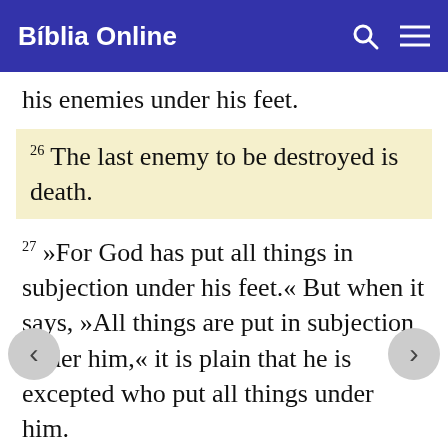Bíblia Online
his enemies under his feet.
26 The last enemy to be destroyed is death.
27 »For God has put all things in subjection under his feet.« But when it says, »All things are put in subjection under him,« it is plain that he is excepted who put all things under him.
28 When all things are subjected to him, then the Son himself will also be subjected to the one who put all things under him, that God may be all in all.